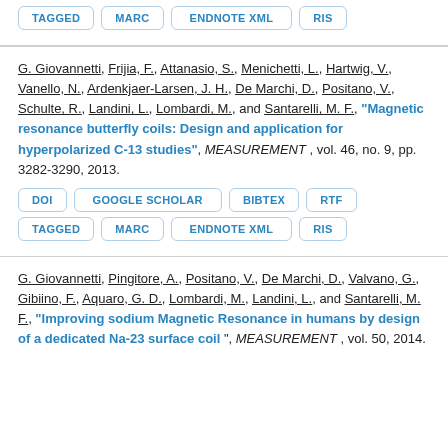Buttons: TAGGED, MARC, ENDNOTE XML, RIS
G. Giovannetti, Frijia, F., Attanasio, S., Menichetti, L., Hartwig, V., Vanello, N., Ardenkjaer-Larsen, J. H., De Marchi, D., Positano, V., Schulte, R., Landini, L., Lombardi, M., and Santarelli, M. F., "Magnetic resonance butterfly coils: Design and application for hyperpolarized C-13 studies", MEASUREMENT, vol. 46, no. 9, pp. 3282-3290, 2013.
Buttons: DOI, GOOGLE SCHOLAR, BIBTEX, RTF, TAGGED, MARC, ENDNOTE XML, RIS
G. Giovannetti, Pingitore, A., Positano, V., De Marchi, D., Valvano, G., Gibiino, F., Aquaro, G. D., Lombardi, M., Landini, L., and Santarelli, M. F., "Improving sodium Magnetic Resonance in humans by design of a dedicated Na-23 surface coil", MEASUREMENT, vol. 50, 2014.